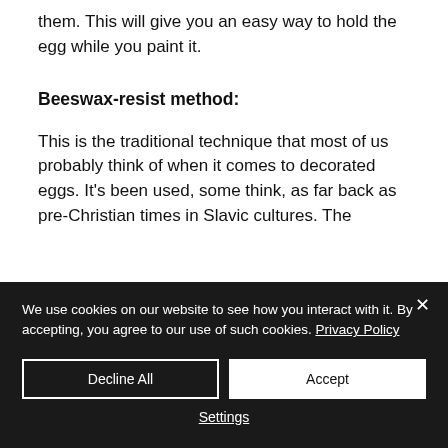them. This will give you an easy way to hold the egg while you paint it.
Beeswax-resist method:
This is the traditional technique that most of us probably think of when it comes to decorated eggs. It's been used, some think, as far back as pre-Christian times in Slavic cultures. The
We use cookies on our website to see how you interact with it. By accepting, you agree to our use of such cookies. Privacy Policy
Decline All
Accept
Settings